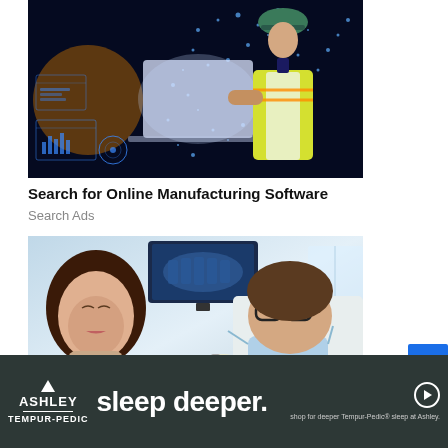[Figure (photo): Worker in hard hat and yellow safety vest holding a laptop with digital HUD overlay and glowing blue particles on dark background]
Search for Online Manufacturing Software
Search Ads
[Figure (photo): Dental office scene: female patient in chair, male dentist with mask and glasses examining dental implant, X-ray screen visible in background]
[Figure (photo): Ashley Furniture advertisement banner: 'sleep deeper. shop for deeper Tempur-Pedic sleep at Ashley.' with Ashley and Tempur-Pedic logos on dark background]